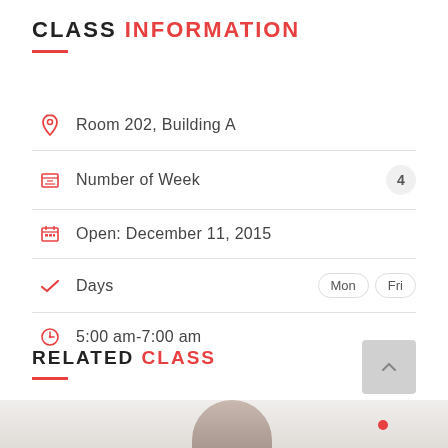CLASS INFORMATION
Room 202, Building A
Number of Week  4
Open: December 11, 2015
Days  Mon  Fri
5:00 am-7:00 am
RELATED CLASS
[Figure (photo): Photo of a woman with eyes closed, yoga/wellness class setting]